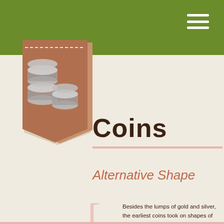Coins
[Figure (illustration): Olive green navigation bar at top with white hamburger menu icon on the right]
Coins
[Figure (illustration): Brown pennant/badge shaped bookmark with stacked coins illustration in white/gray tones]
Alternative Shape
Besides the lumps of gold and silver, the earliest coins took on shapes of knives and spades.⁴
[Figure (illustration): Illustrated coin with dollar sign crossed out, stacked on top of brick-like brown and white coin stacks]
The first coins were put into use in Turkey. Not exactly round, they were made of a gold and silver mixture called electrum and stamped on one side. Despite their irregular shape, coins were held to strict weight s